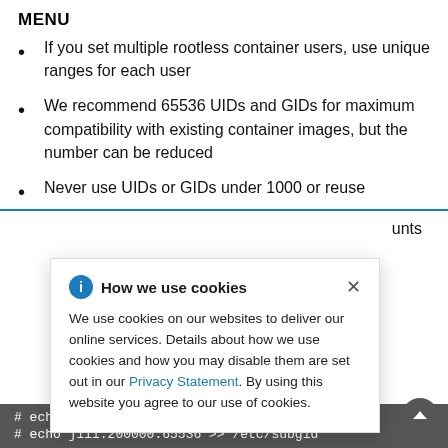MENU
If you set multiple rootless container users, use unique ranges for each user
We recommend 65536 UIDs and GIDs for maximum compatibility with existing container images, but the number can be reduced
Never use UIDs or GIDs under 1000 or reuse …unts
[Figure (screenshot): Cookie consent modal popup with title 'How we use cookies', info icon, close button, and body text about cookie usage with a Privacy Statement link.]
# echo jill:200000:65536 >> /etc/subuid
# echo jill:200000:65536 >> /etc/subgid